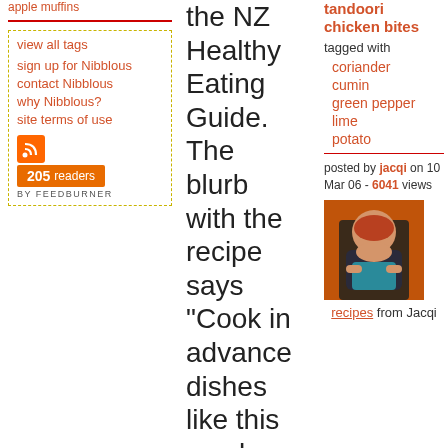apple muffins
view all tags
sign up for Nibblous
contact Nibblous
why Nibblous?
site terms of use
[Figure (other): FeedBurner subscription widget showing 205 readers]
the NZ Healthy Eating Guide. The blurb with the recipe says "Cook in advance dishes like this can be made ahead of
tandoori chicken bites
tagged with
coriander
cumin
green pepper
lime
potato
posted by jacqi on 10 Mar 06 - 6041 views
[Figure (photo): Profile photo of Jacqi, a woman with red hair sitting cross-legged against an orange background]
recipes from Jacqi